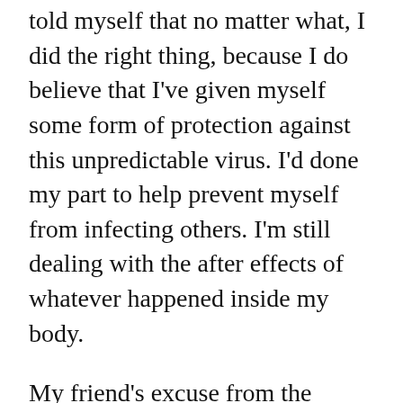told myself that no matter what, I did the right thing, because I do believe that I've given myself some form of protection against this unpredictable virus. I'd done my part to help prevent myself from infecting others. I'm still dealing with the after effects of whatever happened inside my body.
My friend's excuse from the beginning is that he doesn't trust the vaccine. He doesn't trust the government either and feels that the vaccine won't do anything for him or change what he's doing now. I'll admit, it does seem like we've all been in 'learn-and-